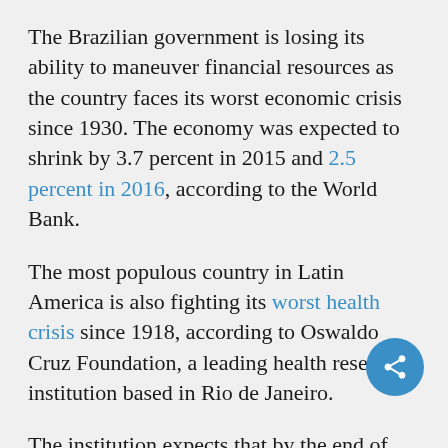The Brazilian government is losing its ability to maneuver financial resources as the country faces its worst economic crisis since 1930. The economy was expected to shrink by 3.7 percent in 2015 and 2.5 percent in 2016, according to the World Bank.
The most populous country in Latin America is also fighting its worst health crisis since 1918, according to Oswaldo Cruz Foundation, a leading health research institution based in Rio de Janeiro.
The institution expects that by the end of 2016, Brazil will have 16,000 cases of microcephaly, a birth defect where a baby is born with an abnormally small head. Researchers suspect caused by the Zika virus. Brazil's health ministry